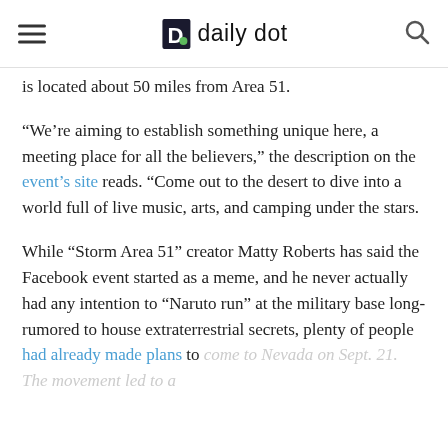Daily Dot
is located about 50 miles from Area 51.
“We’re aiming to establish something unique here, a meeting place for all the believers,” the description on the event’s site reads. “Come out to the desert to dive into a world full of live music, arts, and camping under the stars.
While “Storm Area 51” creator Matty Roberts has said the Facebook event started as a meme, and he never actually had any intention to “Naruto run” at the military base long-rumored to house extraterrestrial secrets, plenty of people had already made plans to come to Nevada on Sept. 21. The movement led to a